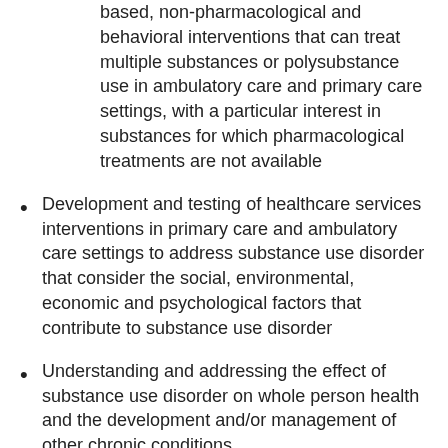based, non-pharmacological and behavioral interventions that can treat multiple substances or polysubstance use in ambulatory care and primary care settings, with a particular interest in substances for which pharmacological treatments are not available
Development and testing of healthcare services interventions in primary care and ambulatory care settings to address substance use disorder that consider the social, environmental, economic and psychological factors that contribute to substance use disorder
Understanding and addressing the effect of substance use disorder on whole person health and the development and/or management of other chronic conditions
Reducing disparities for racial/ethnic minorities, children and adolescents, women, older adults, low-income communities, and rural populations